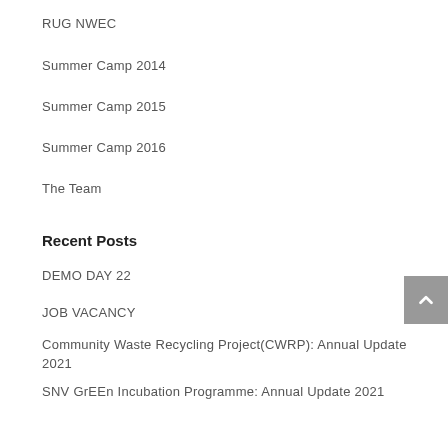RUG NWEC
Summer Camp 2014
Summer Camp 2015
Summer Camp 2016
The Team
Recent Posts
DEMO DAY 22
JOB VACANCY
Community Waste Recycling Project(CWRP): Annual Update 2021
SNV GrEEn Incubation Programme: Annual Update 2021
Recycle Up! Ghana Incubator Program: Annual Update 2021